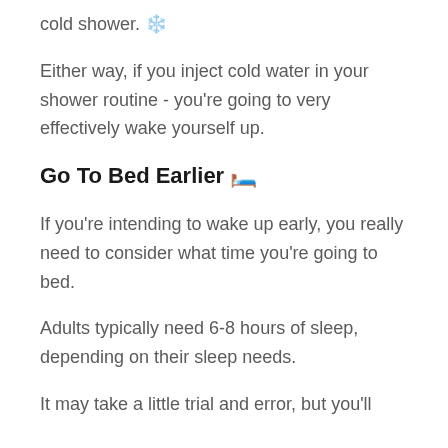cold shower. ❄️
Either way, if you inject cold water in your shower routine - you're going to very effectively wake yourself up.
Go To Bed Earlier 🛏️
If you're intending to wake up early, you really need to consider what time you're going to bed.
Adults typically need 6-8 hours of sleep, depending on their sleep needs.
It may take a little trial and error, but you'll